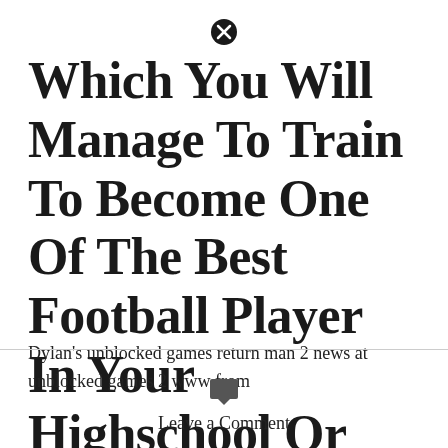Which You Will Manage To Train To Become One Of The Best Football Player In Your Highschool Or College.
Dylan's unblocked games return man 2 news at unblocked games 2 www from
Leave a Comment